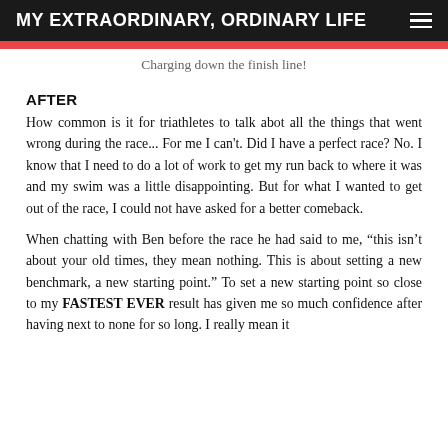MY EXTRAORDINARY, ORDINARY LIFE
Charging down the finish line!
AFTER
How common is it for triathletes to talk abot all the things that went wrong during the race... For me I can't. Did I have a perfect race? No. I know that I need to do a lot of work to get my run back to where it was and my swim was a little disappointing. But for what I wanted to get out of the race, I could not have asked for a better comeback.
When chatting with Ben before the race he had said to me, “this isn’t about your old times, they mean nothing. This is about setting a new benchmark, a new starting point.” To set a new starting point so close to my FASTEST EVER result has given me so much confidence after having next to none for so long. I really mean it